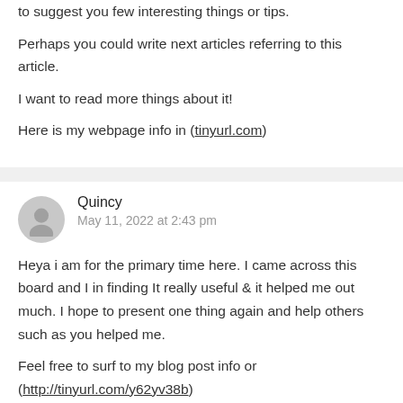to suggest you few interesting things or tips.
Perhaps you could write next articles referring to this article.
I want to read more things about it!

Here is my webpage info in (tinyurl.com)
Quincy
May 11, 2022 at 2:43 pm

Heya i am for the primary time here. I came across this board and I in finding It really useful & it helped me out much. I hope to present one thing again and help others such as you helped me.

Feel free to surf to my blog post info or (http://tinyurl.com/y62yv38b)